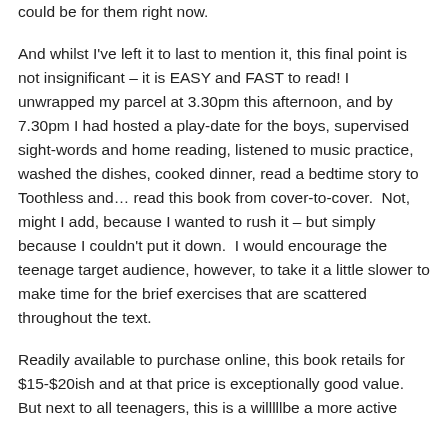could be for them right now.
And whilst I've left it to last to mention it, this final point is not insignificant – it is EASY and FAST to read! I unwrapped my parcel at 3.30pm this afternoon, and by 7.30pm I had hosted a play-date for the boys, supervised sight-words and home reading, listened to music practice, washed the dishes, cooked dinner, read a bedtime story to Toothless and… read this book from cover-to-cover.  Not, might I add, because I wanted to rush it – but simply because I couldn't put it down.  I would encourage the teenage target audience, however, to take it a little slower to make time for the brief exercises that are scattered throughout the text.
Readily available to purchase online, this book retails for $15-$20ish and at that price is exceptionally good value. But next to all teenagers, this is a willllbe a more active